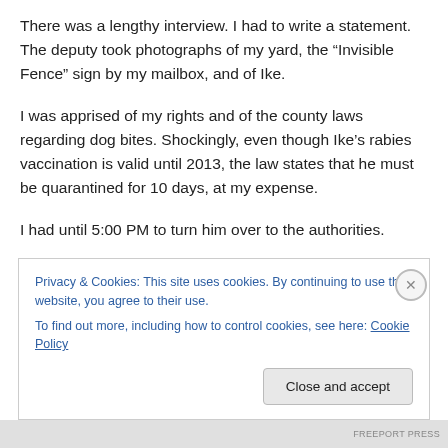There was a lengthy interview. I had to write a statement. The deputy took photographs of my yard, the “Invisible Fence” sign by my mailbox, and of Ike.
I was apprised of my rights and of the county laws regarding dog bites. Shockingly, even though Ike’s rabies vaccination is valid until 2013, the law states that he must be quarantined for 10 days, at my expense.
I had until 5:00 PM to turn him over to the authorities.
The kids and I loaded Ike, his dog food, and a favorite
Privacy & Cookies: This site uses cookies. By continuing to use this website, you agree to their use.
To find out more, including how to control cookies, see here: Cookie Policy
Close and accept